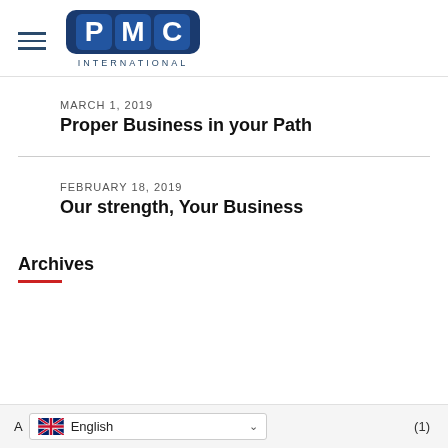[Figure (logo): PMC International logo — blue rounded square tiles with letters P, M, C in white on dark blue background, with INTERNATIONAL text below]
MARCH 1, 2019
Proper Business in your Path
FEBRUARY 18, 2019
Our strength, Your Business
Archives
April (1)
[Figure (screenshot): Language selector widget showing UK flag and English text with dropdown chevron]